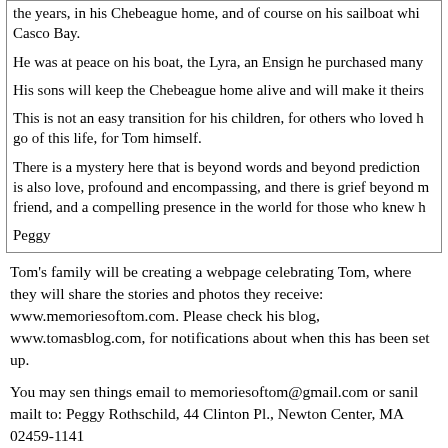the years, in his Chebeague home, and of course on his sailboat while on Casco Bay.
He was at peace on his boat, the Lyra, an Ensign he purchased many
His sons will keep the Chebeague home alive and will make it theirs
This is not an easy transition for his children, for others who loved him, to let go of this life, for Tom himself.
There is a mystery here that is beyond words and beyond prediction. There is also love, profound and encompassing, and there is grief beyond measure for a friend, and a compelling presence in the world for those who knew him.
Peggy
Tom's family will be creating a webpage celebrating Tom, where they will share the stories and photos they receive: www.memoriesoftom.com. Please check his blog, www.tomasblog.com, for notifications about when this has been set up.
You may sen things email to memoriesoftom@gmail.com or sanil mailt to: Peggy Rothschild, 44 Clinton Pl., Newton Center, MA 02459-1141